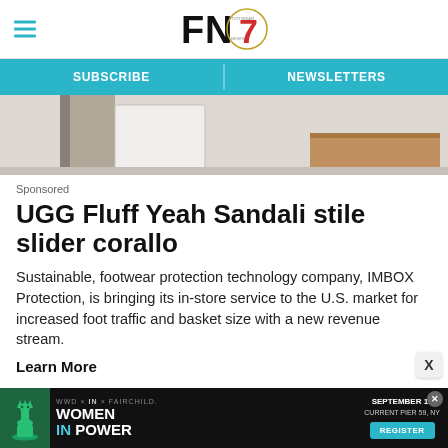FN — Footwear News header with hamburger menu and logo
SUBSCRIBE | NEWSLETTERS
[Figure (photo): Interior retail space with wooden furniture and white walls — hero image]
Sponsored
UGG Fluff Yeah Sandali stile slider corallo
Sustainable, footwear protection technology company, IMBOX Protection, is bringing its in-store service to the U.S. market for increased foot traffic and basket size with a new revenue stream.
Learn More
[Figure (infographic): Advertisement banner: Women In Power event — September 13, Current Pier 59, NY. Register button. Chess piece icon on green background.]